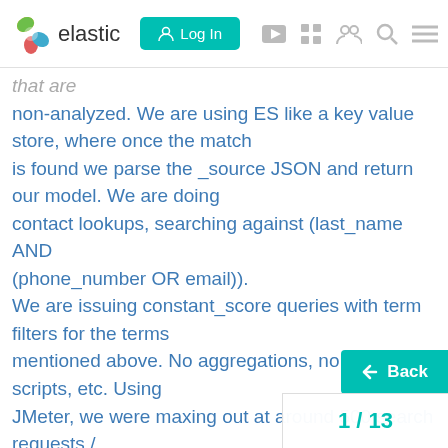elastic | Log In
that are
non-analyzed. We are using ES like a key value store, where once the match
is found we parse the _source JSON and return our model. We are doing
contact lookups, searching against (last_name AND (phone_number OR email)).
We are issuing constant_score queries with term filters for the terms
mentioned above. No aggregations, no sorting, no scripts, etc. Using
JMeter, we were maxing out at around 500 search requests / sec. Average
request time was taking around 7 seconds to complete. When the test would
fire up, the ThreadPool Search Queue would sp... on each node and
CPU would be maxed out, then once it fini... would return to